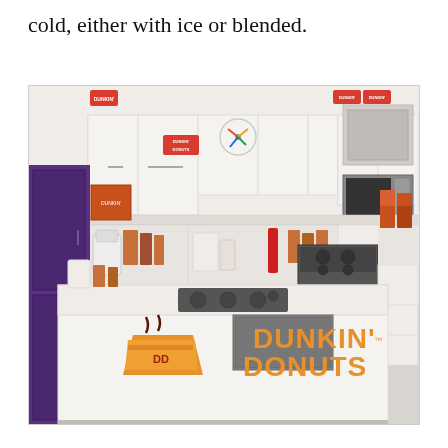cold, either with ice or blended.
[Figure (photo): A bright white kitchen studio decorated with Dunkin' Donuts branding. A large kitchen island in the foreground displays the Dunkin' Donuts logo (an orange coffee cup with 'DD' and the text 'DUNKIN' DONUTS'). The island has a gas cooktop built in. White cabinetry lines the walls, and various Dunkin' Donuts branded products and packaging are displayed on the counters. A stainless steel microwave and range are visible. Dunkin' Donuts logos appear on the walls.]